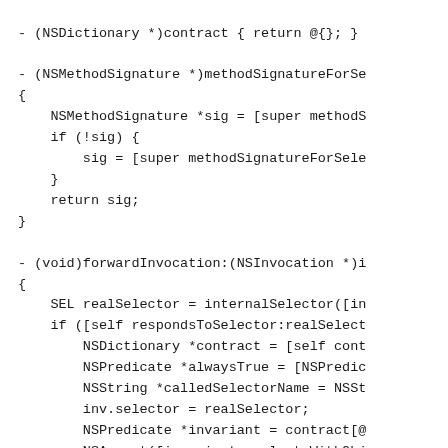- (NSDictionary *)contract { return @{}; }

- (NSMethodSignature *)methodSignatureForSe
{
    NSMethodSignature *sig = [super methodS
    if (!sig) {
        sig = [super methodSignatureForSele
    }
    return sig;
}

- (void)forwardInvocation:(NSInvocation *)i
{
    SEL realSelector = internalSelector([in
    if ([self respondsToSelector:realSelect
        NSDictionary *contract = [self cont
        NSPredicate *alwaysTrue = [NSPredic
        NSString *calledSelectorName = NSSt
        inv.selector = realSelector;
        NSPredicate *invariant = contract[@
        NSAssert([invariant evaluateWithObj
            @"invariant %@ violated before